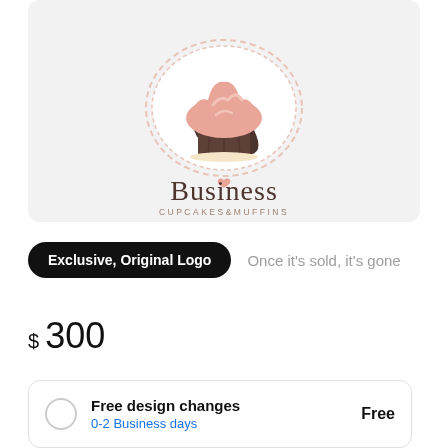[Figure (logo): A cupcake logo with a brown muffin base, pink frosting, and a decorative lace doily beneath. Text reads 'Business' in elegant serif font with a small pink heart above the 'i', and 'CUPCAKES&MUFFINS' in small caps below, on a light gray background.]
Exclusive, Original Logo
Once it's sold, it's gone
$ 300
Free design changes
0-2 Business days
Free